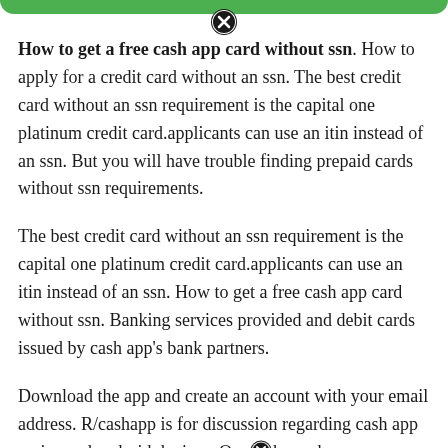[Figure (other): Green top navigation bar with close/dismiss button (X icon)]
How to get a free cash app card without ssn. How to apply for a credit card without an ssn. The best credit card without an ssn requirement is the capital one platinum credit card.applicants can use an itin instead of an ssn. But you will have trouble finding prepaid cards without ssn requirements.
The best credit card without an ssn requirement is the capital one platinum credit card.applicants can use an itin instead of an ssn. How to get a free cash app card without ssn. Banking services provided and debit cards issued by cash app's bank partners.
Download the app and create an account with your email address. R/cashapp is for discussion regarding cash app on ios and android devices. Ope[X]he cash app on your